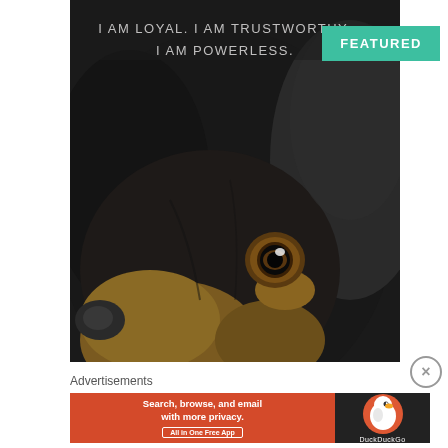[Figure (photo): Close-up photograph of a black dachshund dog face against dark background, with text overlay: I AM LOYAL. I AM TRUSTWORTHY. I AM POWERLESS.]
FEATURED
Advertisements
[Figure (other): DuckDuckGo advertisement banner: Search, browse, and email with more privacy. All in One Free App]